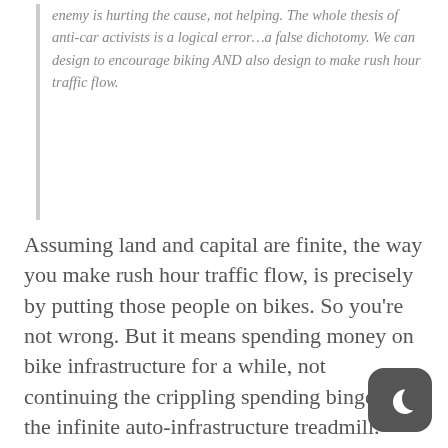enemy is hurting the cause, not helping. The whole thesis of anti-car activists is a logical error…a false dichotomy. We can design to encourage biking AND also design to make rush hour traffic flow.
Assuming land and capital are finite, the way you make rush hour traffic flow, is precisely by putting those people on bikes. So you're not wrong. But it means spending money on bike infrastructure for a while, not continuing the crippling spending binge on the infinite auto-infrastructure treadmill.
And for the record, saying basically “We already used up an awful lot of money and land on this and it didn’t work; now it’s time for something else” is not treating anybody as an “evil enemy,” and
[Figure (other): Dark rounded square button with crescent moon icon in bottom-right corner]